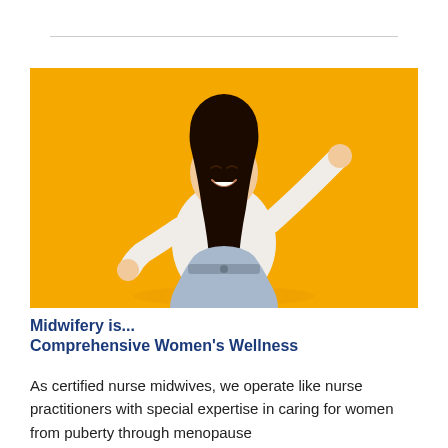[Figure (photo): A young Asian woman with long dark hair, wearing a white long-sleeve top and light blue jeans, dancing joyfully against a bright yellow/orange background with arms raised and looking down with a big smile.]
Midwifery is...
Comprehensive Women's Wellness
As certified nurse midwives, we operate like nurse practitioners with special expertise in caring for women from puberty through menopause